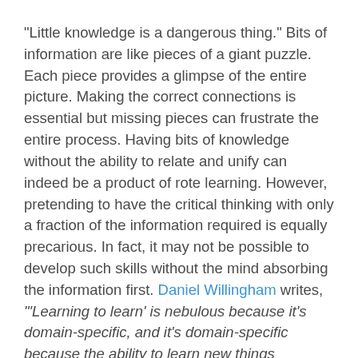"Little knowledge is a dangerous thing." Bits of information are like pieces of a giant puzzle. Each piece provides a glimpse of the entire picture. Making the correct connections is essential but missing pieces can frustrate the entire process. Having bits of knowledge without the ability to relate and unify can indeed be a product of rote learning. However, pretending to have the critical thinking with only a fraction of the information required is equally precarious. In fact, it may not be possible to develop such skills without the mind absorbing the information first. Daniel Willingham writes, "'Learning to learn' is nebulous because it's domain-specific, and it's domain-specific because the ability to learn new things depends on what you already know."
The mind tries to make sense, but it cannot make sense if not provided with enough information. It is not easy to distill nature into one overarching sound bite. Actually, it is impossible. Yet, the human mind greatly craves for that